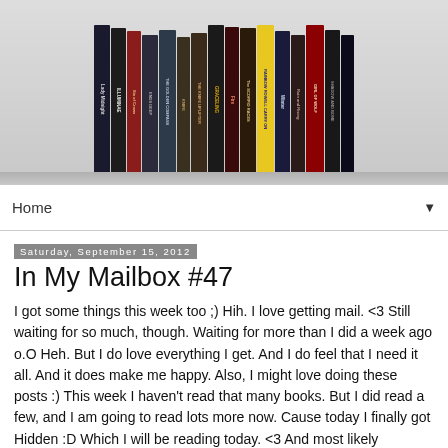[Figure (photo): A row of books standing upright on a shelf, showing spines with titles including Lady Midnight, Illuminae, Six of Crows, Ends Deep, The Golden Compass, Knife, The Knife Uplifter, Graceling, Fire, The Scorpio Races, Carry On, Winter, Ruin and Rising, Girl of Wolf and other titles.]
Home ▼
Saturday, September 15, 2012
In My Mailbox #47
I got some things this week too ;) Hih. I love getting mail. <3 Still waiting for so much, though. Waiting for more than I did a week ago o.O Heh. But I do love everything I get. And I do feel that I need it all. And it does make me happy. Also, I might love doing these posts :) This week I haven't read that many books. But I did read a few, and I am going to read lots more now. Cause today I finally got Hidden :D Which I will be reading today. <3 And most likely reviewing it today as well.